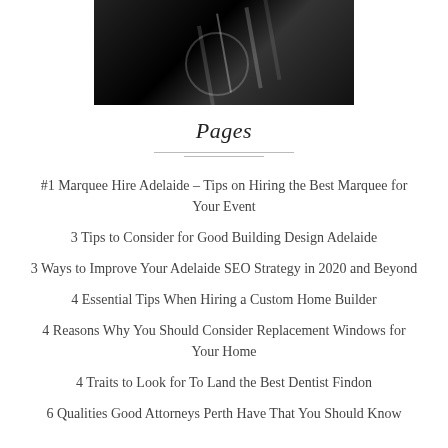[Figure (photo): Black and white photograph, dark background with reflective surfaces]
Pages
#1 Marquee Hire Adelaide – Tips on Hiring the Best Marquee for Your Event
3 Tips to Consider for Good Building Design Adelaide
3 Ways to Improve Your Adelaide SEO Strategy in 2020 and Beyond
4 Essential Tips When Hiring a Custom Home Builder
4 Reasons Why You Should Consider Replacement Windows for Your Home
4 Traits to Look for To Land the Best Dentist Findon
6 Qualities Good Attorneys Perth Have That You Should Know